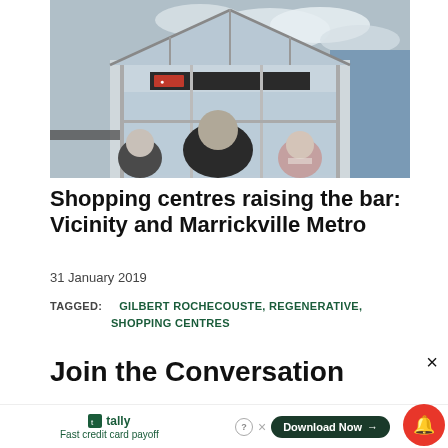[Figure (photo): Three men viewed from behind looking at a modern glass and steel building entrance/facade with glazed roof structure on a cloudy day.]
Shopping centres raising the bar: Vicinity and Marrickville Metro
31 January 2019
TAGGED:   GILBERT ROCHECOUSTE, REGENERATIVE, SHOPPING CENTRES
Join the Conversation
Fast credit card payoff
Download Now →